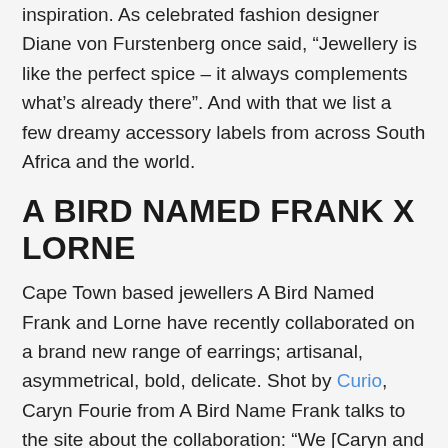inspiration. As celebrated fashion designer Diane von Furstenberg once said, “Jewellery is like the perfect spice – it always complements what’s already there”. And with that we list a few dreamy accessory labels from across South Africa and the world.
A BIRD NAMED FRANK X LORNE
Cape Town based jewellers A Bird Named Frank and Lorne have recently collaborated on a brand new range of earrings; artisanal, asymmetrical, bold, delicate. Shot by Curio, Caryn Fourie from A Bird Name Frank talks to the site about the collaboration: “We [Caryn and Gillian